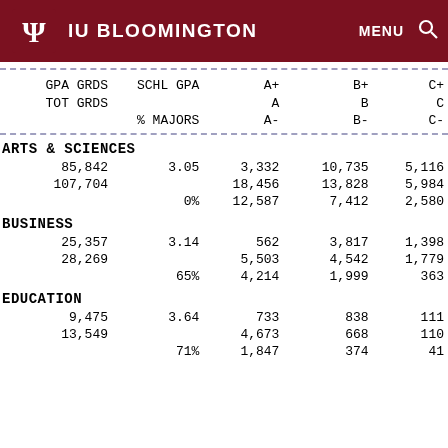IU BLOOMINGTON
|  | GPA GRDS | SCHL GPA | A+ | B+ | C+ |  | TOT GRDS |  | A | B | C |  |  | % MAJORS | A- | B- | C- |
| --- | --- | --- | --- | --- | --- | --- | --- | --- | --- | --- | --- | --- | --- | --- | --- | --- | --- |
| ARTS & SCIENCES |  |  |  |  |  |
|  | 85,842 | 3.05 | 3,332 | 10,735 | 5,116 |
|  | 107,704 |  | 18,456 | 13,828 | 5,984 |
|  |  | 0% | 12,587 | 7,412 | 2,580 |
| BUSINESS |  |  |  |  |  |
|  | 25,357 | 3.14 | 562 | 3,817 | 1,398 |
|  | 28,269 |  | 5,503 | 4,542 | 1,779 |
|  |  | 65% | 4,214 | 1,999 | 363 |
| EDUCATION |  |  |  |  |  |
|  | 9,475 | 3.64 | 733 | 838 | 111 |
|  | 13,549 |  | 4,673 | 668 | 110 |
|  |  | 71% | 1,847 | 374 | 41 |